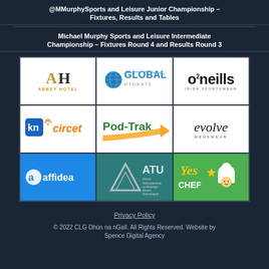@MMurphySports and Leisure Junior Championship – Fixtures, Results and Tables
Michael Murphy Sports and Leisure Intermediate Championship – Fixtures Round 4 and Results Round 3
[Figure (logo): Abbey Hotel logo with stylized AH letters]
[Figure (logo): Global Hydrate logo]
[Figure (logo): O'Neills Irish Sportswear logo]
[Figure (logo): KN Circet logo]
[Figure (logo): Pod-Trak logo]
[Figure (logo): Evolve Menswear logo]
[Figure (logo): Affidea logo]
[Figure (logo): ATU Atlantic Technological University logo]
[Figure (logo): Yes Chef logo]
Privacy Policy
© 2022 CLG Dhún na nGall. All Rights Reserved. Website by Spence Digital Agency